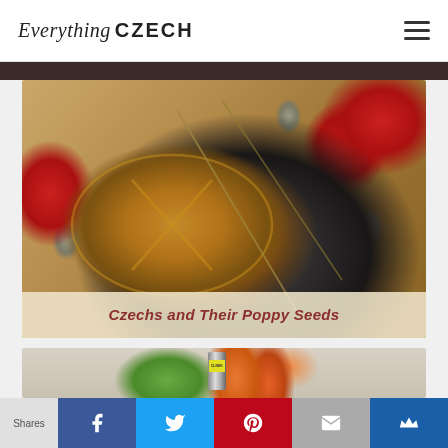Everything CZECH
[Figure (photo): Photo of poppy seed bread rolls covered in poppy seeds, surrounded by red poppy flowers, poppy seed pods, and loose poppy seeds scattered on burlap]
Czechs and Their Poppy Seeds
[Figure (photo): Partially visible photo of vegetables and a tin can (CLNEK brand), likely preview of another article]
Shares — Facebook, Twitter, Pinterest, Email, Su (social share bar)